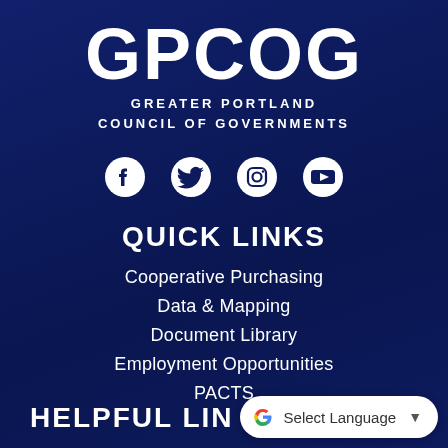[Figure (logo): GPCOG Greater Portland Council of Governments logo with large bold white GPCOG text and subtitle]
[Figure (infographic): Row of four social media icons: Facebook, Twitter, Instagram, YouTube — white circular icons on dark navy background]
QUICK LINKS
Cooperative Purchasing
Data & Mapping
Document Library
Employment Opportunities
PACTS
HELPFUL LINKS
[Figure (other): Google Translate widget showing 'G Select Language' with dropdown arrow on white rounded pill background]